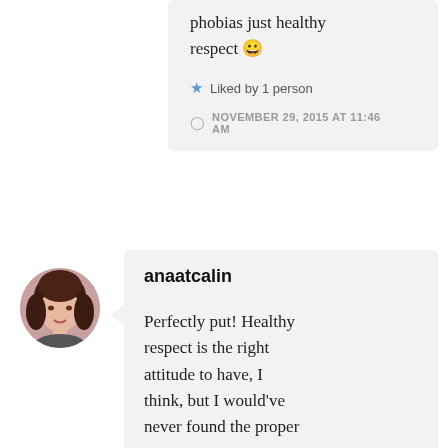phobias just healthy respect 😀
Liked by 1 person
NOVEMBER 29, 2015 AT 11:46 AM
[Figure (photo): Circular avatar photo of a woman with brown hair]
anaatcalin
Perfectly put! Healthy respect is the right attitude to have, I think, but I would've never found the proper